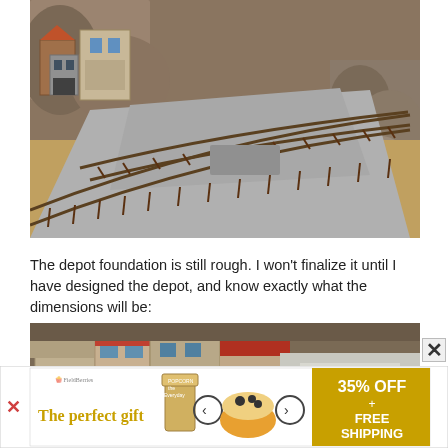[Figure (photo): Aerial view of a model train layout showing curved tracks laid on sandy/rocky terrain with miniature buildings including a western town scene in the background. Multiple parallel tracks curve through the scene.]
The depot foundation is still rough. I won't finalize it until I have designed the depot, and know exactly what the dimensions will be:
[Figure (photo): Partial view of a model train layout showing miniature western-style buildings with red-tiled roofs and a snowy/white terrain area.]
[Figure (infographic): Advertisement banner: 'The perfect gift' with popcorn tin images, arrows, and '35% OFF + FREE SHIPPING' offer text. Includes a close button (X) and another X mark on the left side.]